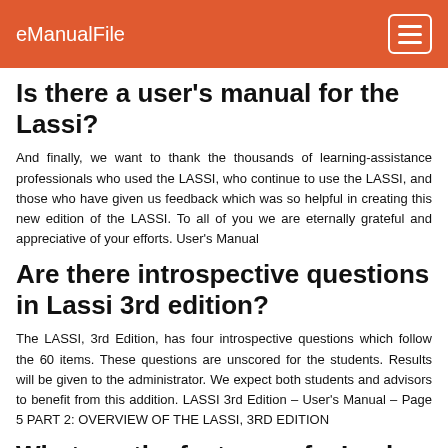eManualFile
Is there a user's manual for the Lassi?
And finally, we want to thank the thousands of learning-assistance professionals who used the LASSI, who continue to use the LASSI, and those who have given us feedback which was so helpful in creating this new edition of the LASSI. To all of you we are eternally grateful and appreciative of your efforts. User's Manual
Are there introspective questions in Lassi 3rd edition?
The LASSI, 3rd Edition, has four introspective questions which follow the 60 items. These questions are unscored for the students. Results will be given to the administrator. We expect both students and advisors to benefit from this addition. LASSI 3rd Edition – User's Manual – Page 5 PART 2: OVERVIEW OF THE LASSI, 3RD EDITION
What are the features of a Lasko product?